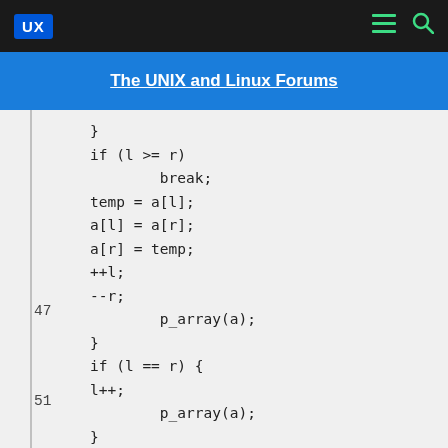UX | The UNIX and Linux Forums
The UNIX and Linux Forums
}
if (l >= r)
    break;
temp = a[l];
a[l] = a[r];
a[r] = temp;
++l;
--r;
47      p_array(a);
}
if (l == r) {
l++;
51      p_array(a);
}